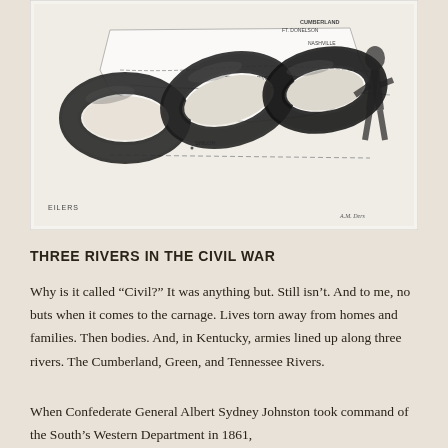[Figure (illustration): Black and white illustration showing heavy chain links overlaid on a map of Kentucky/Tennessee region with locations marked including Ft. Donelson, Cumberland, Nashville, Tennessee River, and Shiloh. A figure appears on the right side. Artist signature 'EILERS' visible in lower left.]
THREE RIVERS IN THE CIVIL WAR
Why is it called “Civil?” It was anything but. Still isn’t. And to me, no buts when it comes to the carnage. Lives torn away from homes and families. Then bodies. And, in Kentucky, armies lined up along three rivers. The Cumberland, Green, and Tennessee Rivers.
When Confederate General Albert Sydney Johnston took command of the South’s Western Department in 1861,